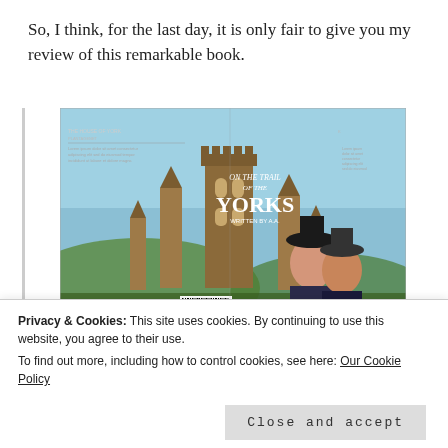So, I think, for the last day, it is only fair to give you my review of this remarkable book.
[Figure (photo): Book cover/spread for 'On the Trail of the Yorks' showing Durham Cathedral in the background and two medieval portrait figures, with text panels on either side and a barcode at the bottom.]
Richard III is probably the House of York's
best known figure, but the other members of
Privacy & Cookies: This site uses cookies. By continuing to use this website, you agree to their use.
To find out more, including how to control cookies, see here: Our Cookie Policy
Close and accept
of this fascinating family and discovers their